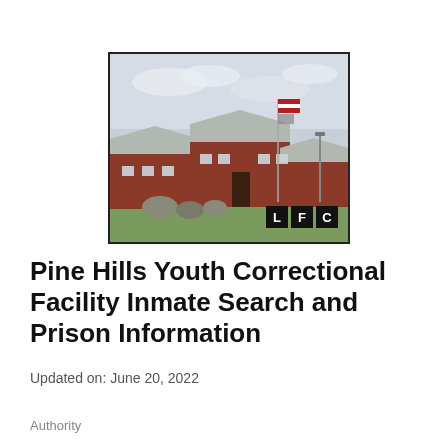[Figure (photo): Exterior photo of Pine Hills Youth Correctional Facility — red brick buildings with grey metal roofs, a flagpole flying the US flag, green lawn, decorative boulders in front, overcast sky. LFC logo overlay in bottom-right corner of image.]
Pine Hills Youth Correctional Facility Inmate Search and Prison Information
Updated on: June 20, 2022
Authority